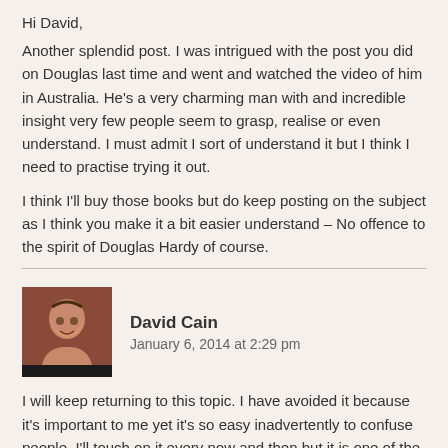Hi David,
Another splendid post. I was intrigued with the post you did on Douglas last time and went and watched the video of him in Australia. He's a very charming man with and incredible insight very few people seem to grasp, realise or even understand. I must admit I sort of understand it but I think I need to practise trying it out.
I think I'll buy those books but do keep posting on the subject as I think you make it a bit easier understand – No offence to the spirit of Douglas Hardy of course.
David Cain
January 6, 2014 at 2:29 pm
I will keep returning to this topic. I have avoided it because it's important to me yet it's so easy inadvertently to confuse people. I'll touch on it every now and then but it is one of the most important things I write about, IMO.